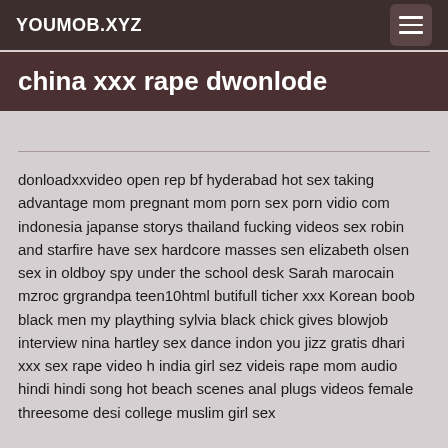YOUMOB.XYZ
china xxx rape dwonlode
donloadxxvideo open rep bf hyderabad hot sex taking advantage mom pregnant mom porn sex porn vidio com indonesia japanse storys thailand fucking videos sex robin and starfire have sex hardcore masses sen elizabeth olsen sex in oldboy spy under the school desk Sarah marocain mzroc grgrandpa teen10html butifull ticher xxx Korean boob black men my plaything sylvia black chick gives blowjob interview nina hartley sex dance indon you jizz gratis dhari xxx sex rape video h india girl sez videis rape mom audio hindi hindi song hot beach scenes anal plugs videos female threesome desi college muslim girl sex